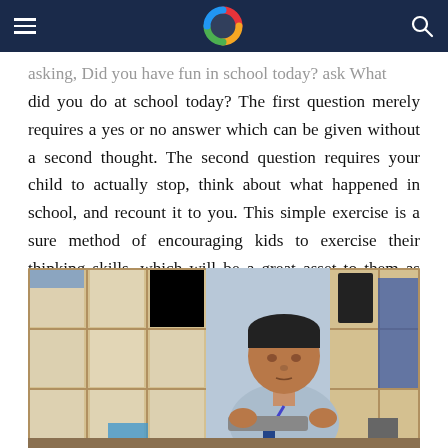[Navigation header with hamburger menu, logo, and search icon]
asking, Did you have fun in school today? ask What did you do at school today? The first question merely requires a yes or no answer which can be given without a second thought. The second question requires your child to actually stop, think about what happened in school, and recount it to you. This simple exercise is a sure method of encouraging kids to exercise their thinking skills, which will be a great asset to them as adults.
[Figure (photo): A school-age boy wearing a blue shirt and lanyard, looking down and working on something at a desk, with wooden cubby shelves in the background in a classroom setting.]